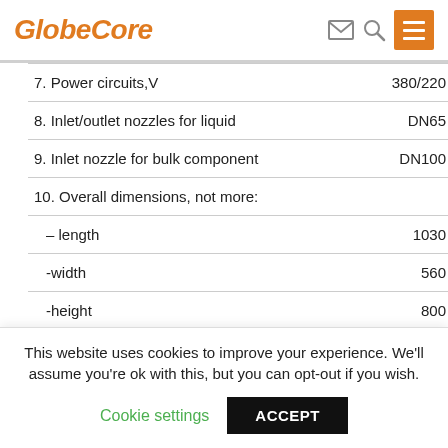GlobeCore
| Parameter | Value |
| --- | --- |
| 7. Power circuits,V | 380/220 |
| 8. Inlet/outlet nozzles for liquid | DN65 |
| 9. Inlet nozzle for bulk component | DN100 |
| 10. Overall dimensions, not more: |  |
| – length | 1030 |
| -width | 560 |
| -height | 800 |
| 11. Weight, kg | 290 |
ARE YOU:
This website uses cookies to improve your experience. We'll assume you're ok with this, but you can opt-out if you wish.
Cookie settings    ACCEPT